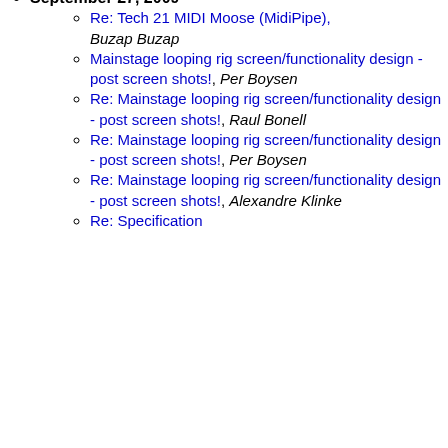Re: Tech 21 MIDI Moose, Jojo Hahn
Re: the looping arborist, Jeff Duke
September 27, 2009
Re: Tech 21 MIDI Moose (MidiPipe), Buzap Buzap
Mainstage looping rig screen/functionality design - post screen shots!, Per Boysen
Re: Mainstage looping rig screen/functionality design - post screen shots!, Raul Bonell
Re: Mainstage looping rig screen/functionality design - post screen shots!, Per Boysen
Re: Mainstage looping rig screen/functionality design - post screen shots!, Alexandre Klinke
Re: Specification